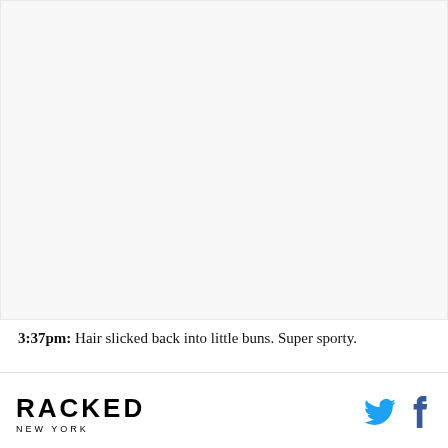[Figure (photo): Large white/light gray blank image placeholder area]
3:37pm: Hair slicked back into little buns. Super sporty.
RACKED NEW YORK [Twitter icon] [Facebook icon]